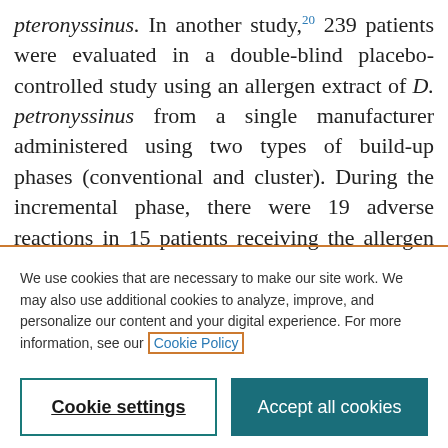pteronyssinus. In another study,20 239 patients were evaluated in a double-blind placebo-controlled study using an allergen extract of D. petronyssinus from a single manufacturer administered using two types of build-up phases (conventional and cluster). During the incremental phase, there were 19 adverse reactions in 15 patients receiving the allergen extract; eight reactions (0.2% per injection) were systemic
We use cookies that are necessary to make our site work. We may also use additional cookies to analyze, improve, and personalize our content and your digital experience. For more information, see our Cookie Policy
Cookie settings
Accept all cookies